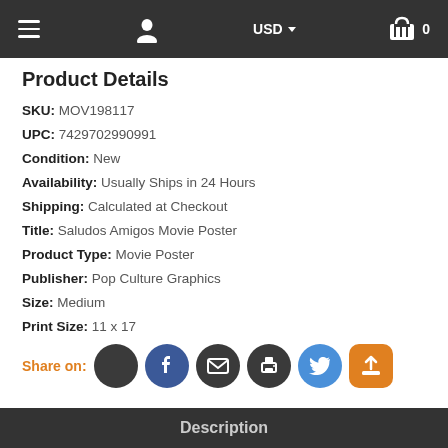≡  [user icon]  USD ▾  [cart icon] 0
Product Details
SKU: MOV198117
UPC: 7429702990991
Condition: New
Availability: Usually Ships in 24 Hours
Shipping: Calculated at Checkout
Title: Saludos Amigos Movie Poster
Product Type: Movie Poster
Publisher: Pop Culture Graphics
Size: Medium
Print Size: 11 x 17
Share on:
Description